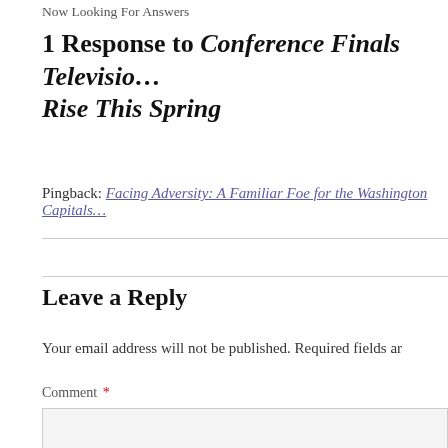Now Looking For Answers
1 Response to Conference Finals Television Rise This Spring
Pingback: Facing Adversity: A Familiar Foe for the Washington Capitals
Leave a Reply
Your email address will not be published. Required fields ar
Comment *